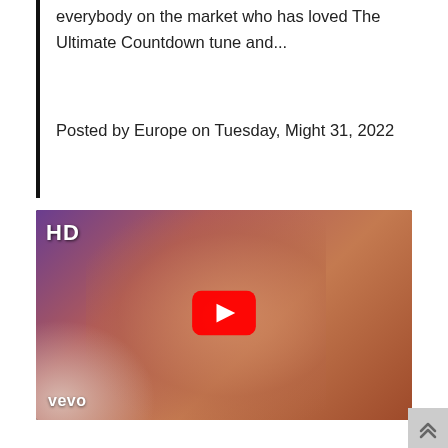everybody on the market who has loved The Ultimate Countdown tune and...
Posted by Europe on Tuesday, Might 31, 2022
[Figure (screenshot): YouTube/Vevo video thumbnail showing a person with voluminous red/auburn hair singing into a microphone. The thumbnail has an 'HD' badge in the top-left corner, a YouTube play button (red rounded rectangle with white triangle) in the center, and the 'vevo' logo watermark in the bottom-left corner.]